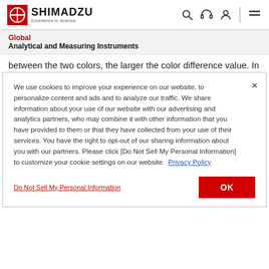[Figure (logo): Shimadzu logo with circular crosshair icon, text SHIMADZU and tagline Excellence in Science, navigation icons (search, headset, user, menu)]
Global
Analytical and Measuring Instruments
between the two colors, the larger the color difference value. In
We use cookies to improve your experience on our website, to personalize content and ads and to analyze our traffic. We share information about your use of our website with our advertising and analytics partners, who may combine it with other information that you have provided to them or that they have collected from your use of their services. You have the right to opt-out of our sharing information about you with our partners. Please click [Do Not Sell My Personal Information] to customize your cookie settings on our website.  Privacy Policy
Do Not Sell My Personal Information
OK